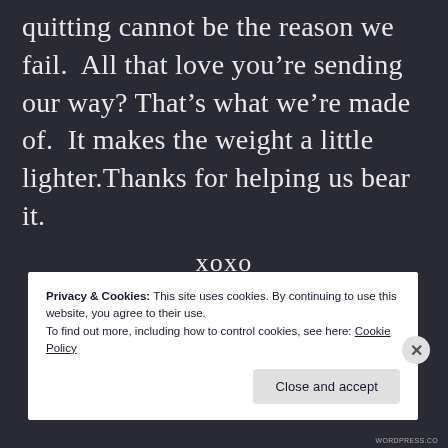quitting cannot be the reason we fail.  All that love you’re sending our way? That’s what we’re made of.  It makes the weight a little lighter.Thanks for helping us bear it.
xoxo
Privacy & Cookies: This site uses cookies. By continuing to use this website, you agree to their use.
To find out more, including how to control cookies, see here: Cookie Policy
Close and accept